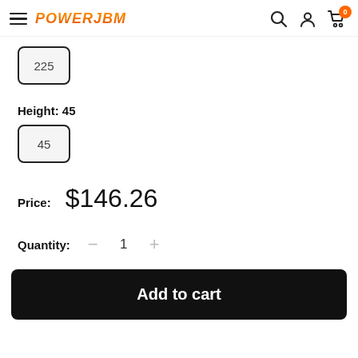POWERJBM - navigation header with hamburger menu, logo, search, account, and cart icons (0 items)
225
Height: 45
45
Price:  $146.26
Quantity:  −  1  +
Add to cart